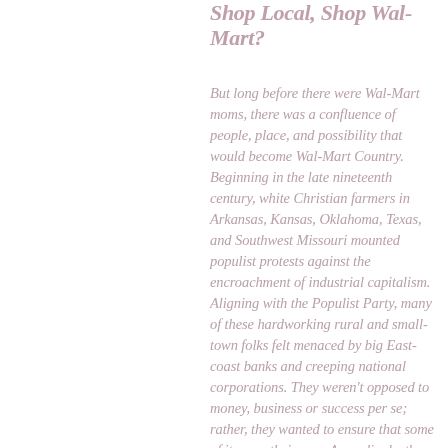Shop Local, Shop Wal-Mart?
But long before there were Wal-Mart moms, there was a confluence of people, place, and possibility that would become Wal-Mart Country. Beginning in the late nineteenth century, white Christian farmers in Arkansas, Kansas, Oklahoma, Texas, and Southwest Missouri mounted populist protests against the encroachment of industrial capitalism. Aligning with the Populist Party, many of these hardworking rural and small-town folks felt menaced by big East-coast banks and creeping national corporations. They weren't opposed to money, business or success per se; rather, they wanted to ensure that some of it came their way. Accordingly, they supported federal legislation that …